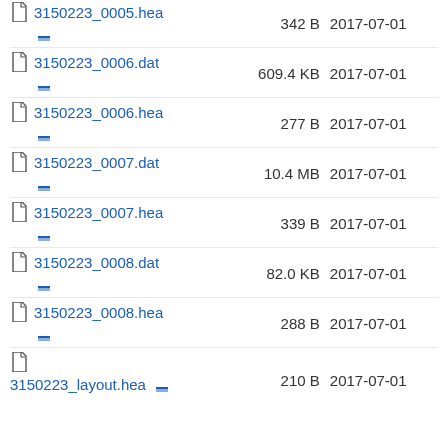3150223_0005.hea — 342 B — 2017-07-01
3150223_0006.dat — 609.4 KB — 2017-07-01
3150223_0006.hea — 277 B — 2017-07-01
3150223_0007.dat — 10.4 MB — 2017-07-01
3150223_0007.hea — 339 B — 2017-07-01
3150223_0008.dat — 82.0 KB — 2017-07-01
3150223_0008.hea — 288 B — 2017-07-01
3150223_layout.hea — 210 B — 2017-07-01